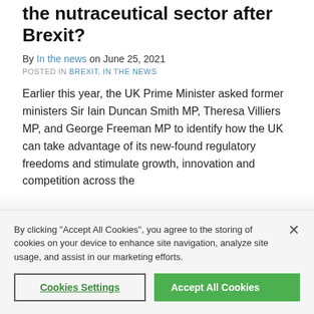the nutraceutical sector after Brexit?
By In the news on June 25, 2021
POSTED IN BREXIT, IN THE NEWS
Earlier this year, the UK Prime Minister asked former ministers Sir Iain Duncan Smith MP, Theresa Villiers MP, and George Freeman MP to identify how the UK can take advantage of its new-found regulatory freedoms and stimulate growth, innovation and competition across the
By clicking “Accept All Cookies”, you agree to the storing of cookies on your device to enhance site navigation, analyze site usage, and assist in our marketing efforts.
Cookies Settings
Accept All Cookies